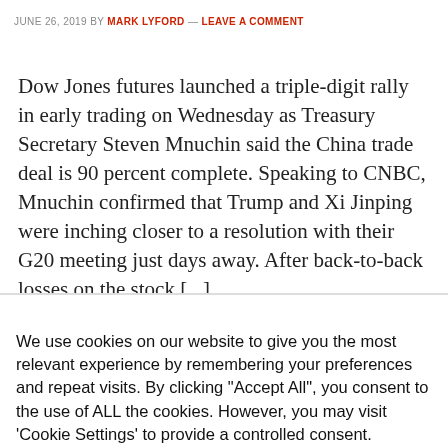JUNE 26, 2019 BY MARK LYFORD — LEAVE A COMMENT
Dow Jones futures launched a triple-digit rally in early trading on Wednesday as Treasury Secretary Steven Mnuchin said the China trade deal is 90 percent complete. Speaking to CNBC, Mnuchin confirmed that Trump and Xi Jinping were inching closer to a resolution with their G20 meeting just days away. After back-to-back losses on the stock [...]
We use cookies on our website to give you the most relevant experience by remembering your preferences and repeat visits. By clicking “Accept All”, you consent to the use of ALL the cookies. However, you may visit 'Cookie Settings' to provide a controlled consent.
Cookie Settings | Accept All